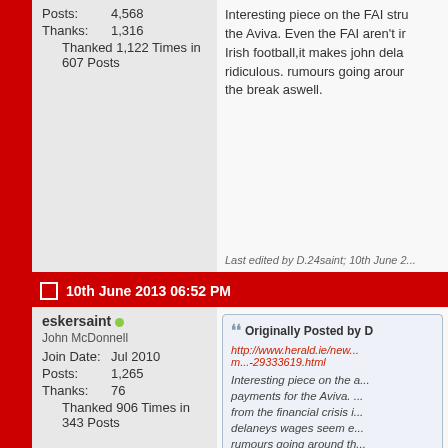Posts: 4,568
Thanks: 1,316
Thanked 1,122 Times in 607 Posts
Interesting piece on the FAI structure and their payments for the Aviva. Even the FAI aren't immune from the financial crisis in Irish football,it makes john delaneys wages seem ridiculous. rumours going around that lennon is after the break aswell.
Last edited by D.24saint; 10th June 2...
10th June 2013 06:52 PM
eskersaint
John McDonnell
Join Date: Jul 2010
Posts: 1,265
Thanks: 76
Thanked 906 Times in 343 Posts
Originally Posted by D
http://www.herald.ie/new... m...-29333619.html
Interesting piece on the ... payments for the Aviva. ... from the financial crisis i... delaneys wages seem e... rumours going around th... during the break aswell.